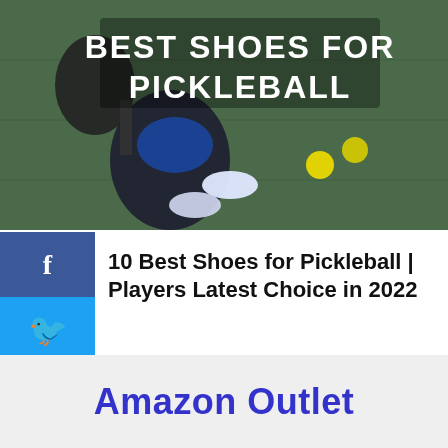[Figure (photo): Hero image showing a pickleball player from above holding a paddle, with yellow pickleballs on a green court surface. Text overlay reads 'BEST SHOES FOR PICKLEBALL' in white bold letters.]
10 Best Shoes for Pickleball | Players Latest Choice in 2022
Amazon Outlet